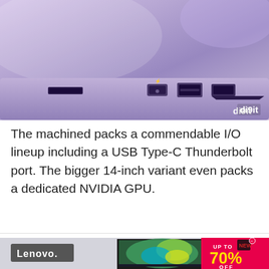[Figure (photo): Close-up photo of a laptop's side ports including SD card slot, USB Type-C Thunderbolt port, USB Type-A port, and HDMI port, with a 'digit' watermark in the bottom right corner. Purple/lavender colored laptop body.]
The machined packs a commendable I/O lineup including a USB Type-C Thunderbolt port. The bigger 14-inch variant even packs a dedicated NVIDIA GPU.
[Figure (photo): Photo of a Lenovo laptop on display showing a peacock feather wallpaper on screen, with an advertisement overlay showing 'UP TO 70% OFF' in yellow text on a pink/red background with a black box icon.]